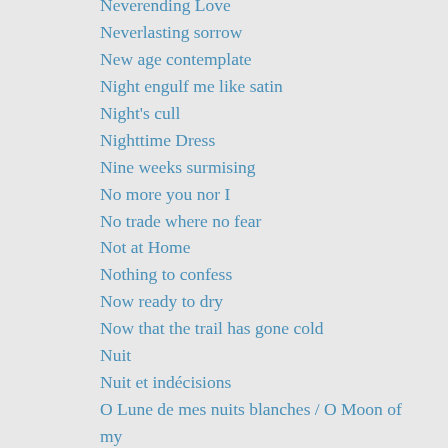Neverending Love
Neverlasting sorrow
New age contemplate
Night engulf me like satin
Night's cull
Nighttime Dress
Nine weeks surmising
No more you nor I
No trade where no fear
Not at Home
Nothing to confess
Now ready to dry
Now that the trail has gone cold
Nuit
Nuit et indécisions
O Lune de mes nuits blanches / O Moon of my sleepless nights
Ocean greets me kin
Ocean of Despair
Ode to Nevermore
Of a soul to move with no tear